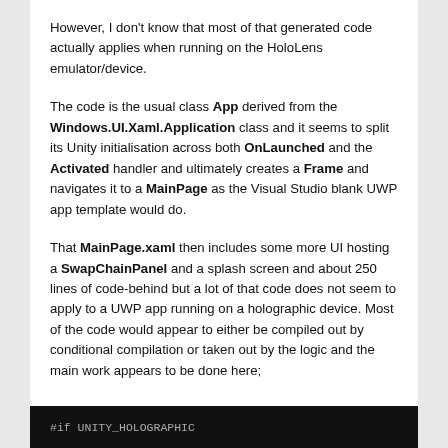However, I don't know that most of that generated code actually applies when running on the HoloLens emulator/device.
The code is the usual class App derived from the Windows.UI.Xaml.Application class and it seems to split its Unity initialisation across both OnLaunched and the Activated handler and ultimately creates a Frame and navigates it to a MainPage as the Visual Studio blank UWP app template would do.
That MainPage.xaml then includes some more UI hosting a SwapChainPanel and a splash screen and about 250 lines of code-behind but a lot of that code does not seem to apply to a UWP app running on a holographic device. Most of the code would appear to either be compiled out by conditional compilation or taken out by the logic and the main work appears to be done here;
[Figure (screenshot): Dark/black code editor screenshot showing text beginning with #if UNITY_HOLOGRAPHIC]